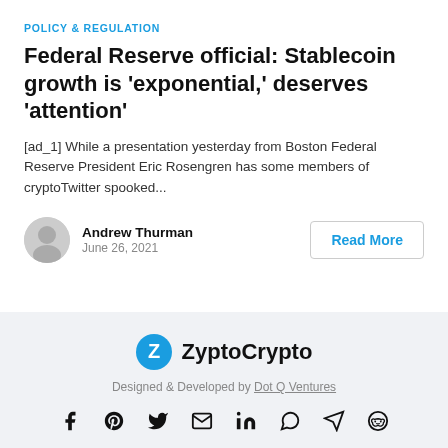POLICY & REGULATION
Federal Reserve official: Stablecoin growth is 'exponential,' deserves 'attention'
[ad_1] While a presentation yesterday from Boston Federal Reserve President Eric Rosengren has some members of cryptoTwitter spooked...
Andrew Thurman
June 26, 2021
Read More
[Figure (logo): ZyptoCrypto logo with blue circular Z icon]
Designed & Developed by Dot Q Ventures
[Figure (other): Social media icons: Facebook, Pinterest, Twitter, Email, LinkedIn, WhatsApp, Telegram, Reddit]